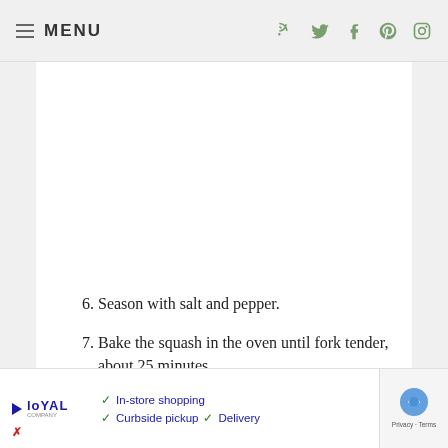≡ MENU
6. Season with salt and pepper.
7. Bake the squash in the oven until fork tender, about 25 minutes.
8. Cool to room temperature, then scoop out the flesh.
9. In a large saucepan, heat the olive oil over medium heat until lightly smoking.
10. Cook the onion until translucent, stirring of
[Figure (other): Advertisement banner: Loyal company logo with checkmarks listing In-store shopping, Curbside pickup, Delivery, and a blue diamond arrow icon. reCAPTCHA overlay in bottom-right corner.]